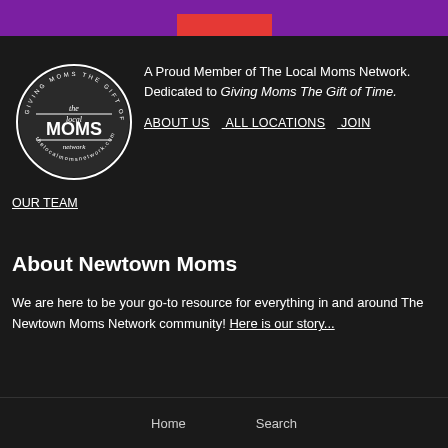[Figure (logo): The Local Moms Network circular badge logo in white on dark, with text 'GIVING MOMS THE GIFT OF TIME' around the rim and 'the local MOMS network' in the center]
A Proud Member of The Local Moms Network. Dedicated to Giving Moms The Gift of Time.
ABOUT US   ALL LOCATIONS   JOIN OUR TEAM
About Newtown Moms
We are here to be your go-to resource for everything in and around The Newtown Moms Network community! Here is our story...
Home   Search